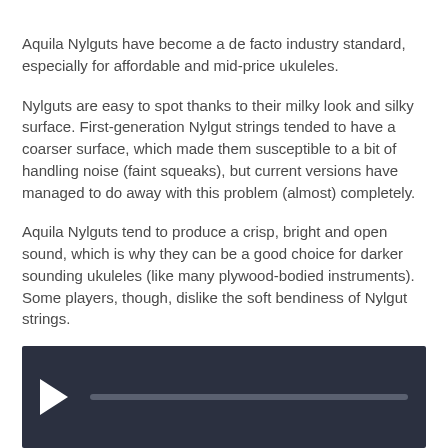Aquila Nylguts have become a de facto industry standard, especially for affordable and mid-price ukuleles.
Nylguts are easy to spot thanks to their milky look and silky surface. First-generation Nylgut strings tended to have a coarser surface, which made them susceptible to a bit of handling noise (faint squeaks), but current versions have managed to do away with this problem (almost) completely.
Aquila Nylguts tend to produce a crisp, bright and open sound, which is why they can be a good choice for darker sounding ukuleles (like many plywood-bodied instruments). Some players, though, dislike the soft bendiness of Nylgut strings.
[Figure (screenshot): Video player with dark background, white play button triangle on the left, and a grey progress bar stretching to the right.]